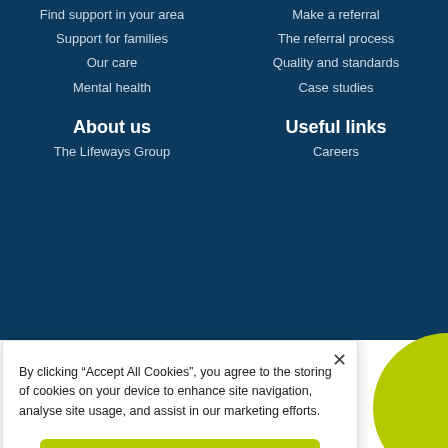Find support in your area
Support for families
Our care
Mental health
Make a referral
The referral process
Quality and standards
Case studies
About us
The Lifeways Group
Useful links
Careers
By clicking “Accept All Cookies”, you agree to the storing of cookies on your device to enhance site navigation, analyse site usage, and assist in our marketing efforts.
Accept All Cookies
Review Cookies Settings